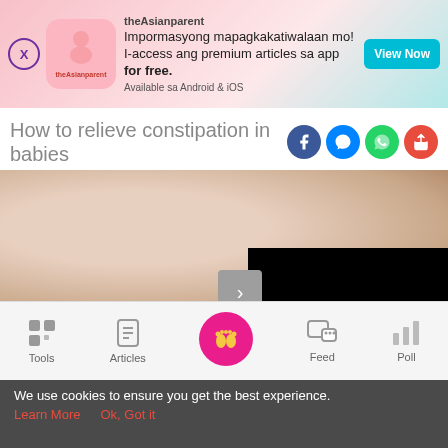[Figure (screenshot): theAsianparent app advertisement banner with pink gradient background, logo, tagline in Filipino, and a View Now button]
How to relieve constipation in babies
[Figure (photo): Close-up photo of a crying newborn baby]
[Figure (screenshot): Black video overlay panel on the right side of the hero image with a grey arrow navigation button]
8 min read
[Figure (screenshot): Bottom navigation bar with Tools, Articles, home icon (pink circle with baby feet), Feed, and Poll tabs]
We use cookies to ensure you get the best experience.
Learn More   Ok, Got it